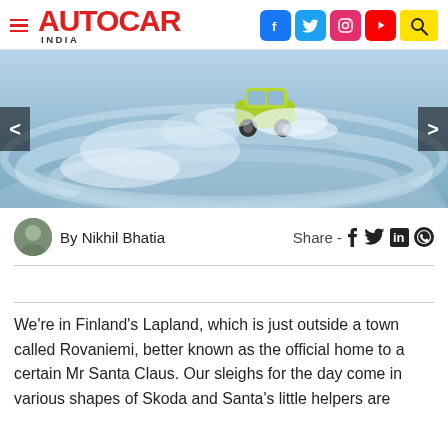Autocar India
[Figure (photo): Aerial view of a green car driving on a snow-covered icy surface in Lapland, Finland, with snow spray visible around the vehicle. Navigation arrows on left and right.]
By Nikhil Bhatia   Share -
We're in Finland's Lapland, which is just outside a town called Rovaniemi, better known as the official home to a certain Mr Santa Claus. Our sleighs for the day come in various shapes of Skoda and Santa's little helpers are